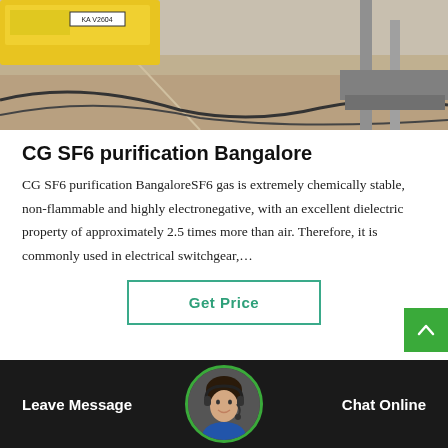[Figure (photo): Outdoor industrial/construction scene showing a yellow vehicle partially visible at top, with cables and metal structures on sandy/concrete ground]
CG SF6 purification Bangalore
CG SF6 purification BangaloreSF6 gas is extremely chemically stable, non-flammable and highly electronegative, with an excellent dielectric property of approximately 2.5 times more than air. Therefore, it is commonly used in electrical switchgear,…
[Figure (other): Get Price button with teal/green border]
[Figure (other): Bottom footer bar with Leave Message on left, customer service representative avatar in center with green border, Chat Online on right, and green scroll-to-top arrow button in top-right corner]